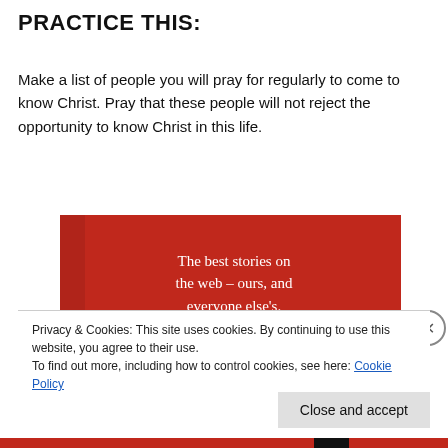PRACTICE THIS:
Make a list of people you will pray for regularly to come to know Christ. Pray that these people will not reject the opportunity to know Christ in this life.
[Figure (illustration): Red advertisement banner reading 'The best stories on the web – ours, and everyone else's.' with a 'Start reading' button on dark background]
Privacy & Cookies: This site uses cookies. By continuing to use this website, you agree to their use.
To find out more, including how to control cookies, see here: Cookie Policy
Close and accept